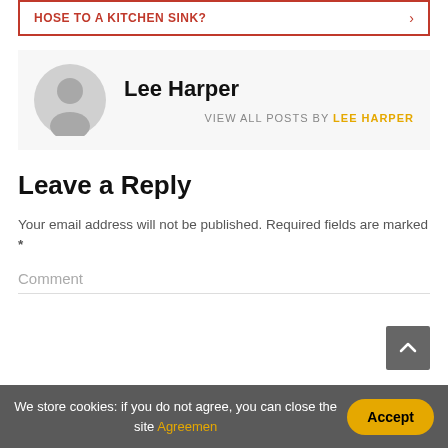HOSE TO A KITCHEN SINK?
[Figure (other): Author avatar - gray silhouette person icon]
Lee Harper
VIEW ALL POSTS BY LEE HARPER
Leave a Reply
Your email address will not be published. Required fields are marked *
Comment
We store cookies: if you do not agree, you can close the site Agreemen
Accept